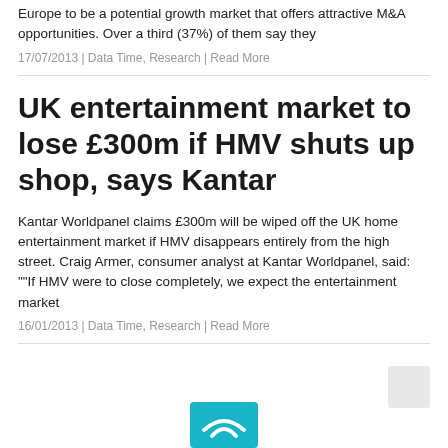Europe to be a potential growth market that offers attractive M&A opportunities. Over a third (37%) of them say they
17/07/2013 | Data Time, Research | Read More
UK entertainment market to lose £300m if HMV shuts up shop, says Kantar
Kantar Worldpanel claims £300m will be wiped off the UK home entertainment market if HMV disappears entirely from the high street. Craig Armer, consumer analyst at Kantar Worldpanel, said: ""If HMV were to close completely, we expect the entertainment market
16/01/2013 | Data Time, Research | Read More